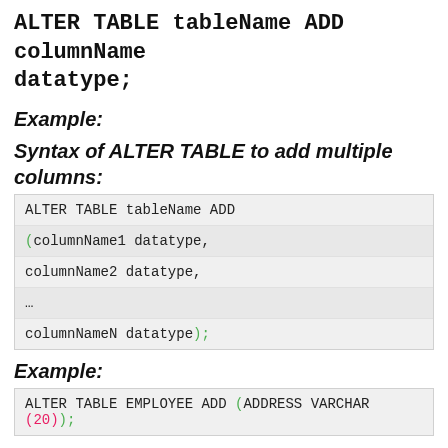ALTER TABLE tableName ADD columnName datatype;
Example:
Syntax of ALTER TABLE to add multiple columns:
Example: